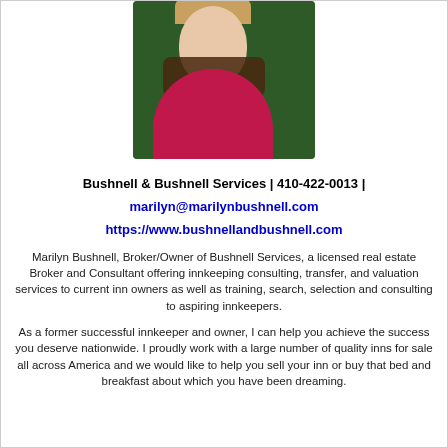[Figure (photo): Headshot photo of Marilyn Bushnell, a woman with short blonde hair wearing a red/magenta top and dark scarf, set against a dark green background.]
Bushnell & Bushnell Services  |  410-422-0013  |
marilyn@marilynbushnell.com
https://www.bushnellandbushnell.com
Marilyn Bushnell, Broker/Owner of Bushnell Services, a licensed real estate Broker and Consultant offering innkeeping consulting, transfer, and valuation services to current inn owners as well as training, search, selection and consulting to aspiring innkeepers.
As a former successful innkeeper and owner, I can help you achieve the success you deserve nationwide. I proudly work with a large number of quality inns for sale all across America and we would like to help you sell your inn or buy that bed and breakfast about which you have been dreaming.